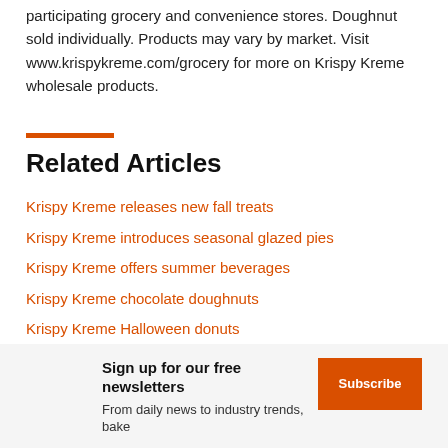participating grocery and convenience stores. Doughnut sold individually. Products may vary by market. Visit www.krispykreme.com/grocery for more on Krispy Kreme wholesale products.
Related Articles
Krispy Kreme releases new fall treats
Krispy Kreme introduces seasonal glazed pies
Krispy Kreme offers summer beverages
Krispy Kreme chocolate doughnuts
Krispy Kreme Halloween donuts
Sign up for our free newsletters
From daily news to industry trends, bake